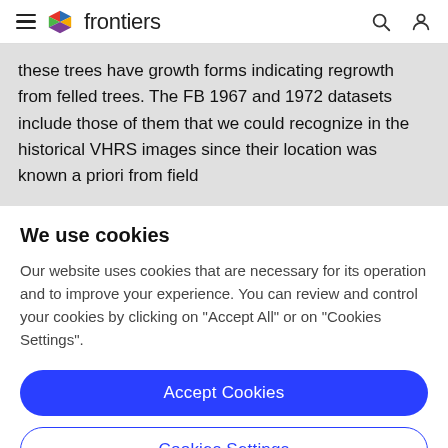frontiers
these trees have growth forms indicating regrowth from felled trees. The FB 1967 and 1972 datasets include those of them that we could recognize in the historical VHRS images since their location was known a priori from field
We use cookies
Our website uses cookies that are necessary for its operation and to improve your experience. You can review and control your cookies by clicking on "Accept All" or on "Cookies Settings".
Accept Cookies
Cookies Settings